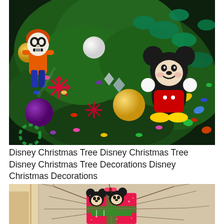[Figure (photo): A colorful Disney-themed Christmas tree decorated with Mickey Mouse and Coco character plush toys, gold and colorful ornaments, snowflake decorations, pink and multicolored lights, and glittery green leaf decorations.]
Disney Christmas Tree Disney Christmas Tree Disney Christmas Tree Decorations Disney Christmas Decorations
[Figure (photo): Mickey and Minnie Mouse plush figures sitting inside a glittery pink gift box decoration, with thin branches spreading out behind them against a tan wall background.]